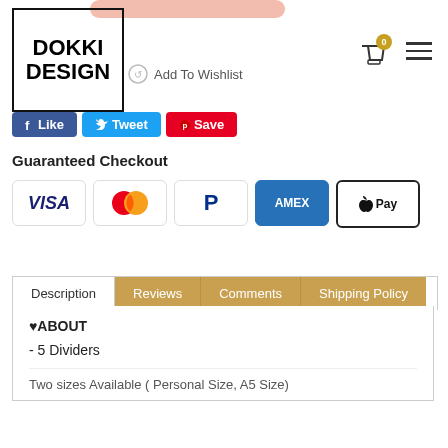[Figure (logo): DOKKI DESIGN logo in a black bordered box]
Add To Wishlist
[Figure (infographic): Social share buttons: f Like, Tweet, Save]
Guaranteed Checkout
[Figure (infographic): Payment method icons: VISA, Mastercard, PayPal, AMEX, Apple Pay]
[Figure (infographic): Tab navigation: Description (active/white), Reviews, Comments, Shipping Policy (tabs on tan/gold background)]
♥ABOUT
- 5 Dividers
Two sizes Available ( Personal Size, A5 Size)